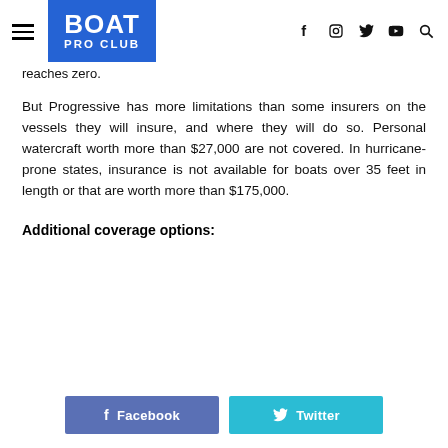BOAT PRO CLUB
reaches zero.
But Progressive has more limitations than some insurers on the vessels they will insure, and where they will do so. Personal watercraft worth more than $27,000 are not covered. In hurricane-prone states, insurance is not available for boats over 35 feet in length or that are worth more than $175,000.
Additional coverage options: